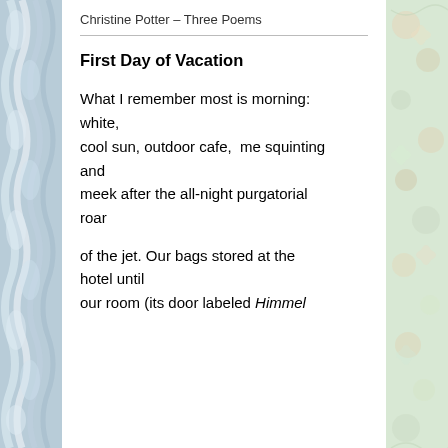Christine Potter – Three Poems
First Day of Vacation
What I remember most is morning: white,
cool sun, outdoor cafe,  me squinting and
meek after the all-night purgatorial roar

of the jet. Our bags stored at the hotel until
our room (its door labeled Himmel